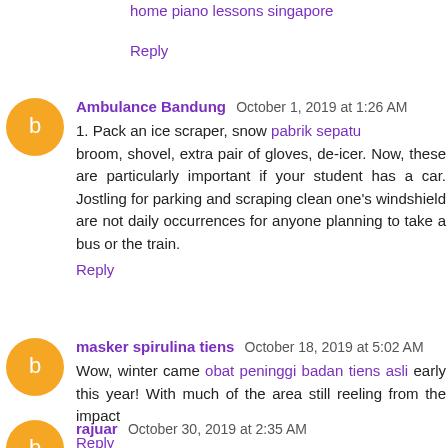home piano lessons singapore
Reply
Ambulance Bandung  October 1, 2019 at 1:26 AM
1. Pack an ice scraper, snow pabrik sepatu broom, shovel, extra pair of gloves, de-icer. Now, these are particularly important if your student has a car. Jostling for parking and scraping clean one's windshield are not daily occurrences for anyone planning to take a bus or the train.
Reply
masker spirulina tiens  October 18, 2019 at 5:02 AM
Wow, winter came obat peninggi badan tiens asli early this year! With much of the area still reeling from the impact
Reply
rajuar  October 30, 2019 at 2:35 AM